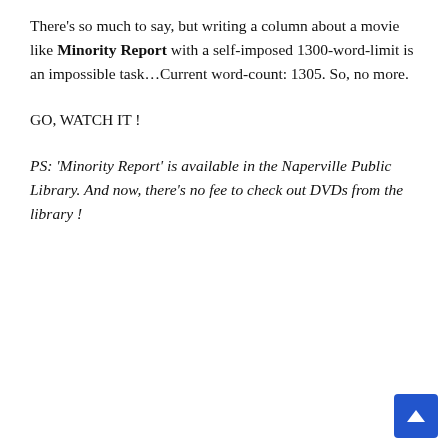There's so much to say, but writing a column about a movie like Minority Report with a self-imposed 1300-word-limit is an impossible task…Current word-count: 1305. So, no more.
GO, WATCH IT !
PS: 'Minority Report' is available in the Naperville Public Library. And now, there's no fee to check out DVDs from the library !